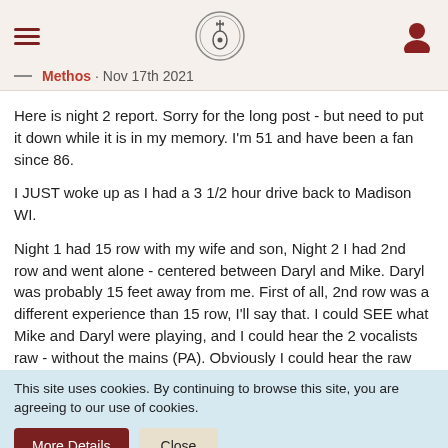Methos · Nov 17th 2021
Here is night 2 report. Sorry for the long post - but need to put it down while it is in my memory. I'm 51 and have been a fan since 86.
I JUST woke up as I had a 3 1/2 hour drive back to Madison WI.
Night 1 had 15 row with my wife and son, Night 2 I had 2nd row and went alone - centered between Daryl and Mike. Daryl was probably 15 feet away from me. First of all, 2nd row was a different experience than 15 row, I'll say that. I could SEE what Mike and Daryl were playing, and I could hear the 2 vocalists raw - without the mains (PA). Obviously I could hear the raw drum sound as well. I thought I would be able to hear the guitars/bass a bit better as the amps were right there - I could hear them, but the front mains were right in front of us
This site uses cookies. By continuing to browse this site, you are agreeing to our use of cookies.